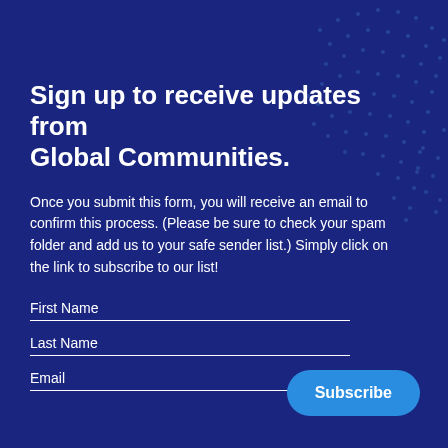Sign up to receive updates from Global Communities.
Once you submit this form, you will receive an email to confirm this process. (Please be sure to check your spam folder and add us to your safe sender list.) Simply click on the link to subscribe to our list!
First Name
Last Name
Email
Subscribe